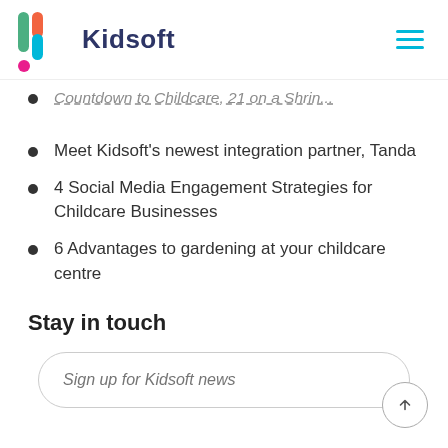Kidsoft
Countdown to Childcare, 21 on a Shrin…
Meet Kidsoft's newest integration partner, Tanda
4 Social Media Engagement Strategies for Childcare Businesses
6 Advantages to gardening at your childcare centre
Stay in touch
Sign up for Kidsoft news